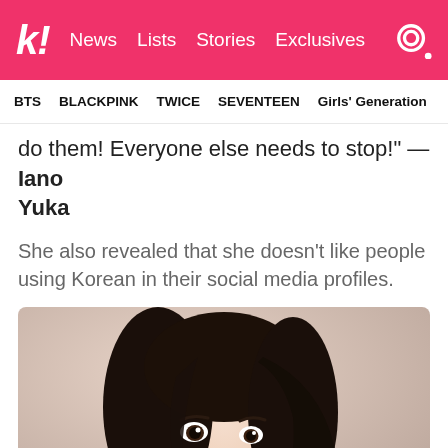k! News  Lists  Stories  Exclusives
BTS  BLACKPINK  TWICE  SEVENTEEN  Girls' Generation
do them! Everyone else needs to stop!" — Iano Yuka
She also revealed that she doesn't like people using Korean in their social media profiles.
[Figure (photo): Close-up portrait of a young woman with long straight dark hair, light skin, dark eyes, viewed from slightly below, hair partially covering one side of her face.]